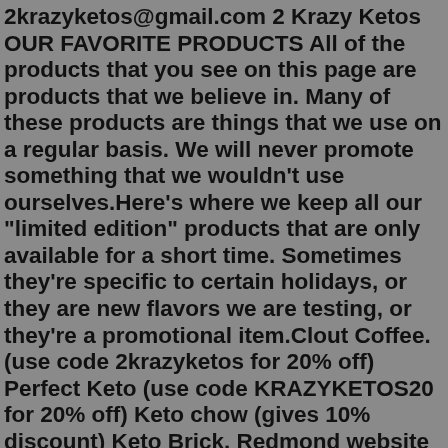2krazyketos@gmail.com 2 Krazy Ketos OUR FAVORITE PRODUCTS All of the products that you see on this page are products that we believe in. Many of these products are things that we use on a regular basis. We will never promote something that we wouldn't use ourselves.Here's where we keep all our "limited edition" products that are only available for a short time. Sometimes they're specific to certain holidays, or they are new flavors we are testing, or they're a promotional item.Clout Coffee. (use code 2krazyketos for 20% off) Perfect Keto (use code KRAZYKETOS20 for 20% off) Keto chow (gives 10% discount) Keto Brick. Redmond website (use code 2KRAZYKETOS for 15% off) 2krazy Ketos Redmond bundle. Support us on Patreon. Our Youtube Channel. Mechandise.Apr 29, 2019 · 1. Be Kind and Courteous. We're all in this together to create a welcoming environment. Let's treat everyone with respect. Healthy debates are natural, but kindness is required. 2. No Hate Speech or Bullying. Make sure everyone feels safe. Bullying of any kind